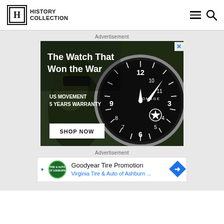History Collection
Advertisement
[Figure (photo): Advertisement for HOMAGE watch brand showing 'The Watch That Won the War' with a close-up of a military-style pilot watch face and a soldier in background. Text: US MOVEMENT, 5 YEARS WARRANTY, SHOP NOW button.]
Advertisement
[Figure (other): Goodyear Tire Promotion ad showing Goodyear logo, text 'Goodyear Tire Promotion' and 'Virginia Tire & Auto of Ashburn ...' with a blue direction arrow icon.]